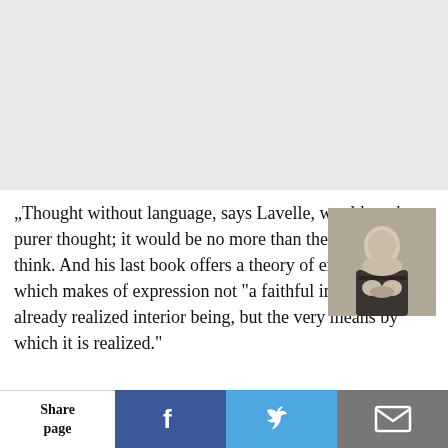[Figure (photo): Gray blank area at top of page]
„Thought without language, says Lavelle, would not be a purer thought; it would be no more than the intention to think. And his last book offers a theory of expressiveness which makes of expression not "a faithful image of an already realized interior being, but the very means by which it is realized."
[Figure (photo): Black and white portrait photograph of a man in a suit seated at a desk]
Share page | [Facebook] | [Twitter] | [Email]